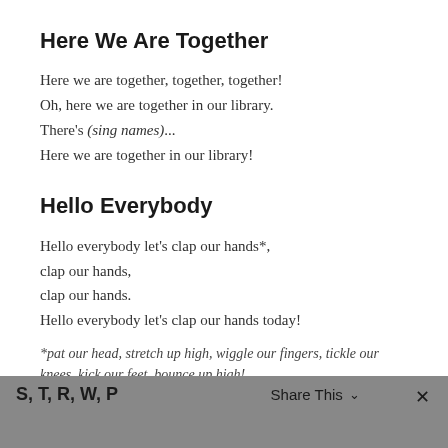Here We Are Together
Here we are together, together, together!
Oh, here we are together in our library.
There's (sing names)...
Here we are together in our library!
Hello Everybody
Hello everybody let's clap our hands*,
clap our hands,
clap our hands.
Hello everybody let's clap our hands today!
*pat our head, stretch up high, wiggle our fingers, tickle our knees, kick our feet, bounce up high!
S, T, R, W, P   Share This   ×